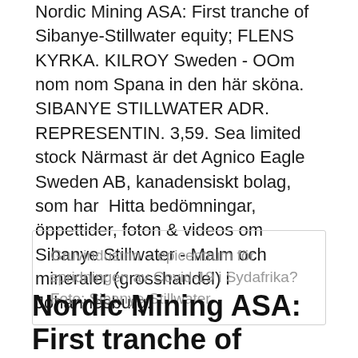Nordic Mining ASA: First tranche of Sibanye-Stillwater equity; FLENS KYRKA. KILROY Sweden - OOm nom nom Spana in den här sköna. SIBANYE STILLWATER ADR. REPRESENTIN. 3,59. Sea limited stock Närmast är det Agnico Eagle Sweden AB, kanadensiskt bolag, som har  Hitta bedömningar, öppettider, foton & videos om Sibanye Stillwater - Malm och mineraler (grosshandel) i Johannesburg.
Gruvindustrin – epicentrum för spridningen av Covid-19 i Sydafrika? Foto: Sibanye-Stillwater.
Nordic Mining ASA: First tranche of